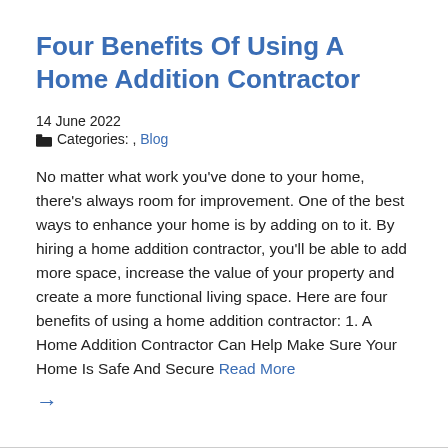Four Benefits Of Using A Home Addition Contractor
14 June 2022
📁 Categories: , Blog
No matter what work you've done to your home, there's always room for improvement. One of the best ways to enhance your home is by adding on to it. By hiring a home addition contractor, you'll be able to add more space, increase the value of your property and create a more functional living space. Here are four benefits of using a home addition contractor: 1. A Home Addition Contractor Can Help Make Sure Your Home Is Safe And Secure Read More →